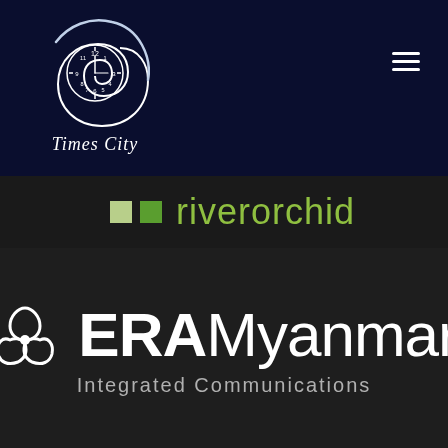[Figure (logo): Times City spiral clock logo with white clock face and curved tail, with 'Times City' italic text below]
[Figure (logo): River Orchid logo with two green squares (light and dark) followed by the text 'riverorchid' in green]
[Figure (logo): ERA Myanmar Integrated Communications logo with trinity/trefoil symbol and bold white text]